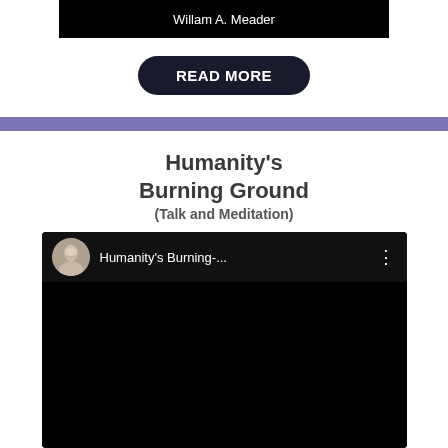Willam A. Meader
READ MORE
Humanity's Burning Ground
(Talk and Meditation)
[Figure (screenshot): YouTube video embed showing 'Humanity's Burning-...' with a circular avatar of a man with white beard and dark background]
READ INTRODUCTION